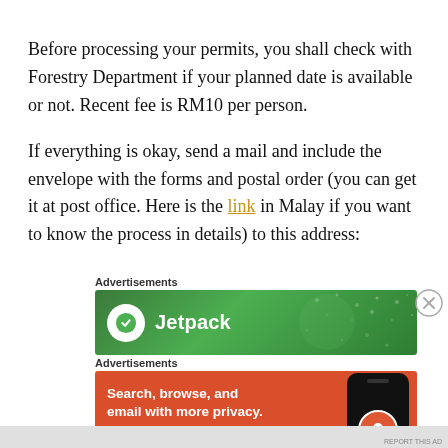Before processing your permits, you shall check with Forestry Department if your planned date is available or not. Recent fee is RM10 per person.
If everything is okay, send a mail and include the envelope with the forms and postal order (you can get it at post office. Here is the link in Malay if you want to know the process in details) to this address:
Advertisements
[Figure (screenshot): Green Jetpack advertisement banner]
Advertisements
[Figure (screenshot): DuckDuckGo orange advertisement banner: Search, browse, and email with more privacy. All in One Free App. Shows phone with DuckDuckGo icon.]